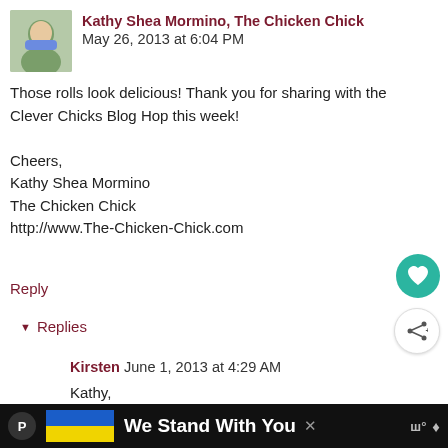Kathy Shea Mormino, The Chicken Chick  May 26, 2013 at 6:04 PM
Those rolls look delicious! Thank you for sharing with the Clever Chicks Blog Hop this week!

Cheers,
Kathy Shea Mormino
The Chicken Chick
http://www.The-Chicken-Chick.com
Reply
Replies
Kirsten  June 1, 2013 at 4:29 AM
Kathy,
Thanks again for hosting!
We Stand With You